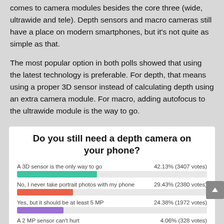comes to camera modules besides the core three (wide, ultrawide and tele). Depth sensors and macro cameras still have a place on modern smartphones, but it's not quite as simple as that.
The most popular option in both polls showed that using the latest technology is preferable. For depth, that means using a proper 3D sensor instead of calculating depth using an extra camera module. For macro, adding autofocus to the ultrawide module is the way to go.
[Figure (bar-chart): Do you still need a depth camera on your phone?]